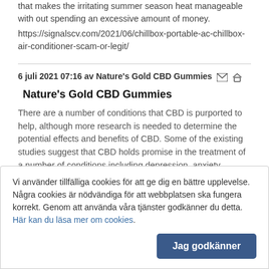that makes the irritating summer season heat manageable with out spending an excessive amount of money. https://signalscv.com/2021/06/chillbox-portable-ac-chillbox-air-conditioner-scam-or-legit/
6 juli 2021 07:16 av Nature's Gold CBD Gummies
Nature's Gold CBD Gummies
There are a number of conditions that CBD is purported to help, although more research is needed to determine the potential effects and benefits of CBD. Some of the existing studies suggest that CBD holds promise in the treatment of a number of conditions including depression, anxiety, epilepsy, and sleep issues, among other things. https://ipsnews.net/business/2021/06/14/natures-gold-cbd-gummies-reviews-shocking-customer-report/
Vi använder tillfälliga cookies för att ge dig en bättre upplevelse. Några cookies är nödvändiga för att webbplatsen ska fungera korrekt. Genom att använda våra tjänster godkänner du detta. Här kan du läsa mer om cookies.
Jag godkänner